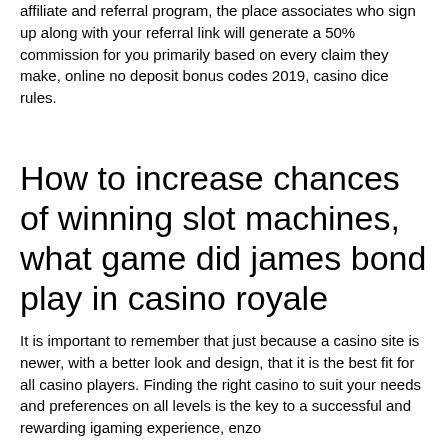affiliate and referral program, the place associates who sign up along with your referral link will generate a 50% commission for you primarily based on every claim they make, online no deposit bonus codes 2019, casino dice rules.
How to increase chances of winning slot machines, what game did james bond play in casino royale
It is important to remember that just because a casino site is newer, with a better look and design, that it is the best fit for all casino players. Finding the right casino to suit your needs and preferences on all levels is the key to a successful and rewarding igaming experience, enzo